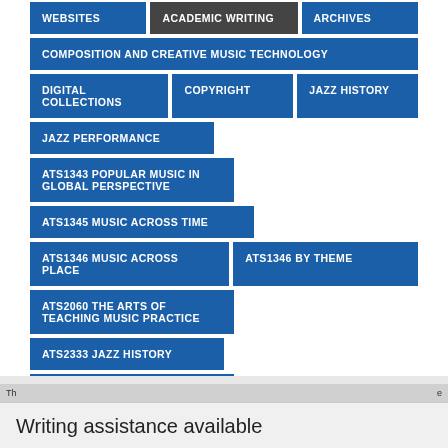WEBSITES
ACADEMIC WRITING
ARCHIVES
COMPOSITION AND CREATIVE MUSIC TECHNOLOGY
DIGITAL COLLECTIONS
COPYRIGHT
JAZZ HISTORY
JAZZ PERFORMANCE
ATS1343 POPULAR MUSIC IN GLOBAL PERSPECTIVE
ATS1345 MUSIC ACROSS TIME
ATS1346 MUSIC ACROSS PLACE
ATS1346 BY THEME
ATS2060 THE ARTS OF TEACHING MUSIC PRACTICE
ATS2333 JAZZ HISTORY
ATS3061 THE PERFORMING ARTS IN AUSTRALIA
ATS3828 FILM MUSIC
DRUMMING TRADITIONS OF WEST AFRICA
EAST ASIA
Writing assistance available
Th e